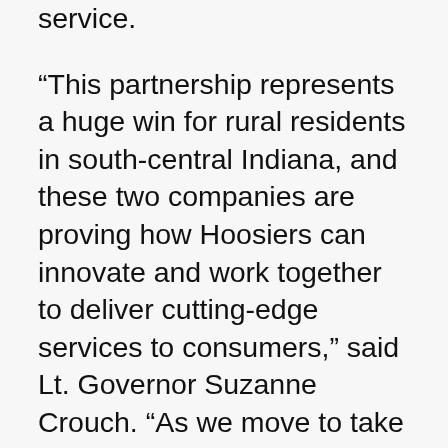service.
“This partnership represents a huge win for rural residents in south-central Indiana, and these two companies are proving how Hoosiers can innovate and work together to deliver cutting-edge services to consumers,” said Lt. Governor Suzanne Crouch. “As we move to take Indiana to the Next Level, Smithville and SCI REMC are raising the bar and setting an example for how to purposefully accelerate